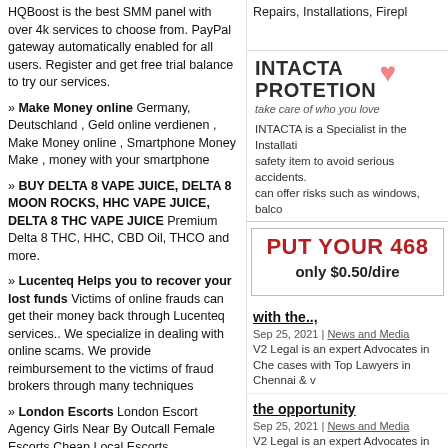HQBoost is the best SMM panel with over 4k services to choose from. PayPal gateway automatically enabled for all users. Register and get free trial balance to try our services.
» Make Money online Germany, Deutschland , Geld online verdienen , Make Money online , Smartphone Money Make , money with your smartphone
» BUY DELTA 8 VAPE JUICE, DELTA 8 MOON ROCKS, HHC VAPE JUICE, DELTA 8 THC VAPE JUICE Premium Delta 8 THC, HHC, CBD Oil, THCO and more.
» Lucenteq Helps you to recover your lost funds Victims of online frauds can get their money back through Lucenteq services.. We specialize in dealing with online scams. We provide reimbursement to the victims of fraud brokers through many techniques
» London Escorts London Escort Agency Girls Near By Outcall Female Escorts Cheap Local Escorts
» smm panel SMMWEBS is an SMM PANEL company that provides a service that helps you access hundreds of SMM websites to promote your business online. Boost Your SMM Panel FREE 2022.
Repairs, Installations, Firepl
[Figure (illustration): INTACTA PROTETION logo with pink heart and cat image, tagline: take care of who you love]
INTACTA is a Specialist in the Installati safety item to avoid serious accidents. can offer risks such as windows, balco
[Figure (infographic): PUT YOUR 468 only $0.50/dire advertisement banner]
with the..,
Sep 25, 2021 | News and Media
V2 Legal is an expert Advocates in Che cases with Top Lawyers in Chennai & v
the opportunity
Sep 25, 2021 | News and Media
V2 Legal is an expert Advocates in Che cases with Top Lawyers in Chennai & v